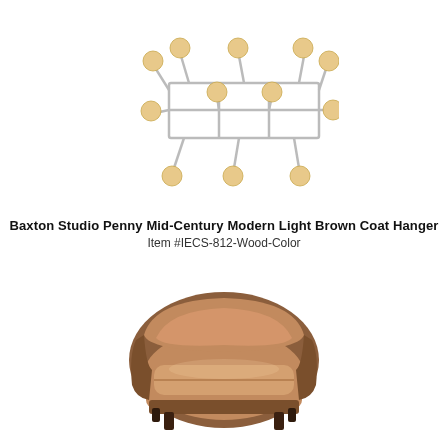[Figure (photo): A mid-century modern coat hanger/hook rack with a silver wire frame structure and multiple round wooden ball hooks attached at various points along the frame.]
Baxton Studio Penny Mid-Century Modern Light Brown Coat Hanger
Item #IECS-812-Wood-Color
[Figure (photo): A mid-century modern style accent armchair upholstered in light tan/camel brown fabric with darker brown curved back and sides, and short dark legs.]